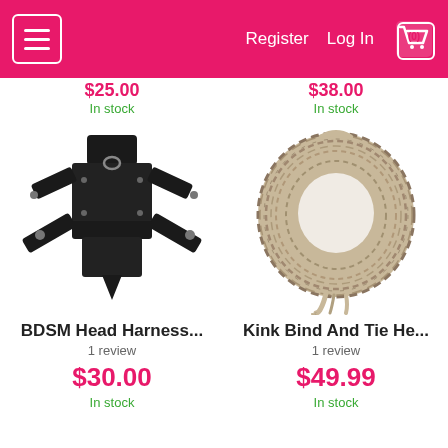Register  Log In  (0)
$-- In stock  $-- In stock
[Figure (photo): Black leather BDSM head harness product photo on white background]
[Figure (photo): Coiled natural hemp/jute rope bundle product photo on white background]
BDSM Head Harness...
1 review
$30.00
In stock
Kink Bind And Tie He...
1 review
$49.99
In stock